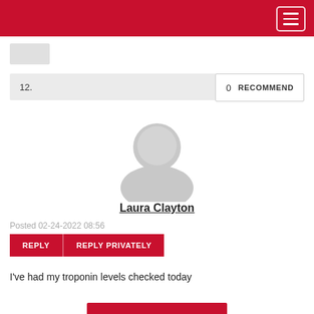12.   0  RECOMMEND
[Figure (illustration): Default user avatar silhouette (gray person icon)]
Laura Clayton
Posted 02-24-2022 08:56
REPLY   REPLY PRIVATELY
I've had my troponin levels checked today